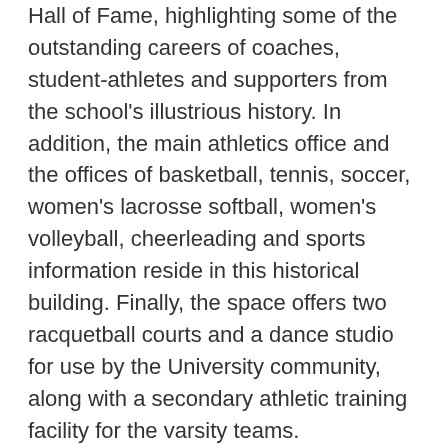Hall of Fame, highlighting some of the outstanding careers of coaches, student-athletes and supporters from the school's illustrious history. In addition, the main athletics office and the offices of basketball, tennis, soccer, women's lacrosse softball, women's volleyball, cheerleading and sports information reside in this historical building. Finally, the space offers two racquetball courts and a dance studio for use by the University community, along with a secondary athletic training facility for the varsity teams.
The facility was named after the Honorable Alvan Tyler Currier, a long-time Pomona Valley farm-owner who first migrated to California in 1861. A one-time sheriff of Los Angeles County, he was elected to the State Senate from the 38th District in 1893. A portion of his estate was donated to...